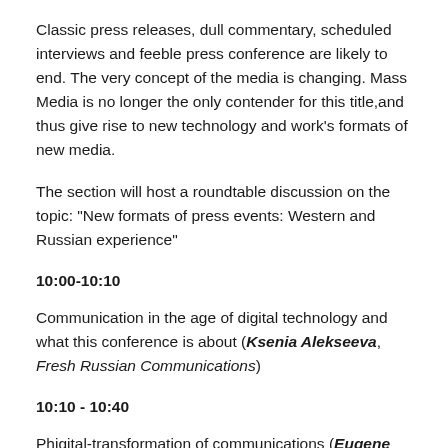Classic press releases, dull commentary, scheduled interviews and feeble press conference are likely to end. The very concept of the media is changing. Mass Media is no longer the only contender for this title,and thus give rise to new technology and work's formats of new media.
The section will host a roundtable discussion on the topic: "New formats of press events: Western and Russian experience"
10:00-10:10
Communication in the age of digital technology and what this conference is about (Ksenia Alekseeva, Fresh Russian Communications)
10:10 - 10:40
Phigital-transformation of communications (Eugene Shanskaya, MAAS AGENCY)